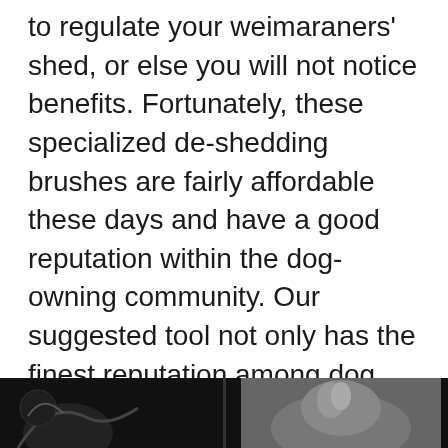to regulate your weimaraners' shed, or else you will not notice benefits. Fortunately, these specialized de-shedding brushes are fairly affordable these days and have a good reputation within the dog-owning community. Our suggested tool not only has the finest reputation among dog owners owing to its ability to provide quick and easy results, but it has also amassed the most independent evaluations from other dog owners, which you can read to see how highly the community regards it.
[Figure (photo): Partial view of a dark photo at the bottom of the page, appearing to show a dog or animal, split into two panels side by side.]